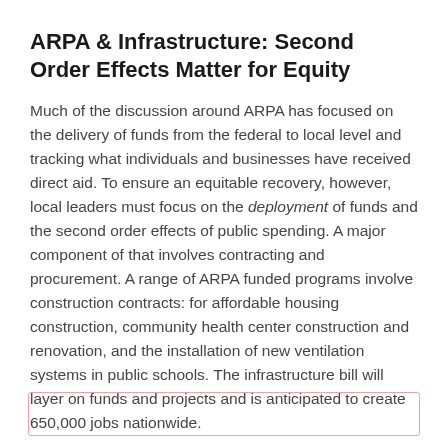ARPA & Infrastructure: Second Order Effects Matter for Equity
Much of the discussion around ARPA has focused on the delivery of funds from the federal to local level and tracking what individuals and businesses have received direct aid. To ensure an equitable recovery, however, local leaders must focus on the deployment of funds and the second order effects of public spending. A major component of that involves contracting and procurement. A range of ARPA funded programs involve construction contracts: for affordable housing construction, community health center construction and renovation, and the installation of new ventilation systems in public schools. The infrastructure bill will layer on funds and projects and is anticipated to create 650,000 jobs nationwide.